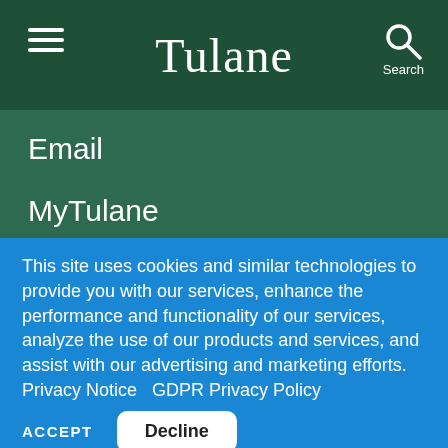Tulane
Email
MyTulane
Gibson Online
Copyright
Privacy
This site uses cookies and similar technologies to provide you with our services, enhance the performance and functionality of our services, analyze the use of our products and services, and assist with our advertising and marketing efforts. Privacy Notice GDPR Privacy Policy
ACCEPT Decline